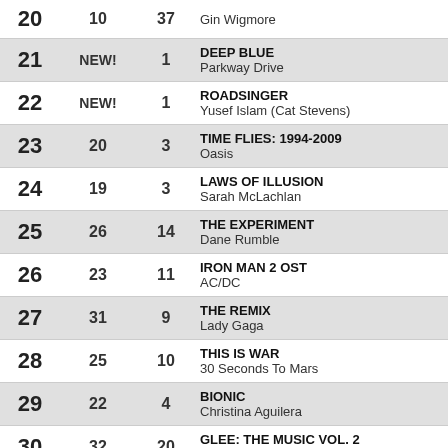| # | Last | Wks | Title / Artist |
| --- | --- | --- | --- |
| 20 | 10 | 37 | Gin Wigmore |
| 21 | NEW! | 1 | DEEP BLUE / Parkway Drive |
| 22 | NEW! | 1 | ROADSINGER / Yusef Islam (Cat Stevens) |
| 23 | 20 | 3 | TIME FLIES: 1994-2009 / Oasis |
| 24 | 19 | 3 | LAWS OF ILLUSION / Sarah McLachlan |
| 25 | 26 | 14 | THE EXPERIMENT / Dane Rumble |
| 26 | 23 | 11 | IRON MAN 2 OST / AC/DC |
| 27 | 31 | 9 | THE REMIX / Lady Gaga |
| 28 | 25 | 10 | THIS IS WAR / 30 Seconds To Mars |
| 29 | 22 | 4 | BIONIC / Christina Aguilera |
| 30 | 32 | 20 | GLEE: THE MUSIC VOL. 2 / Glee Cast |